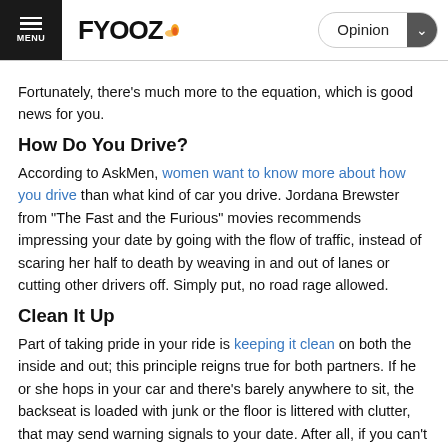FYOOZ | Opinion
Fortunately, there's much more to the equation, which is good news for you.
How Do You Drive?
According to AskMen, women want to know more about how you drive than what kind of car you drive. Jordana Brewster from "The Fast and the Furious" movies recommends impressing your date by going with the flow of traffic, instead of scaring her half to death by weaving in and out of lanes or cutting other drivers off. Simply put, no road rage allowed.
Clean It Up
Part of taking pride in your ride is keeping it clean on both the inside and out; this principle reigns true for both partners. If he or she hops in your car and there's barely anywhere to sit, the backseat is loaded with junk or the floor is littered with clutter, that may send warning signals to your date. After all, if you can't even clean your car to make a great first impression, who knows what your home looks like. And, in some cases, you may be perceived as scatter brained or like you don't quite have your life together.